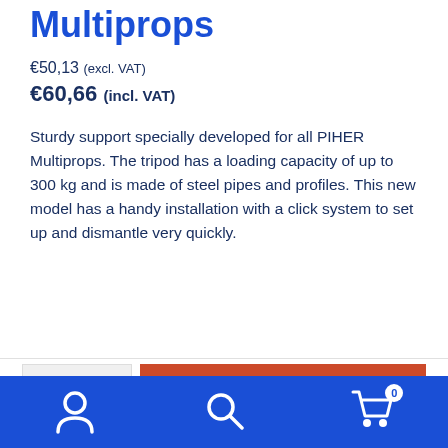Multiprops
€50,13 (excl. VAT)
€60,66 (incl. VAT)
Sturdy support specially developed for all PIHER Multiprops. The tripod has a loading capacity of up to 300 kg and is made of steel pipes and profiles. This new model has a handy installation with a click system to set up and dismantle very quickly.
1
Add to cart